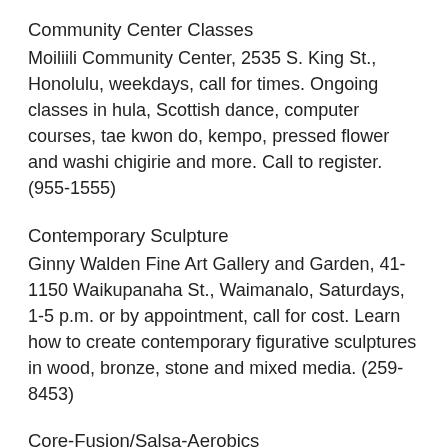Community Center Classes
Moiliili Community Center, 2535 S. King St., Honolulu, weekdays, call for times. Ongoing classes in hula, Scottish dance, computer courses, tae kwon do, kempo, pressed flower and washi chigirie and more. Call to register. (955-1555)
Contemporary Sculpture
Ginny Walden Fine Art Gallery and Garden, 41-1150 Waikupanaha St., Waimanalo, Saturdays, 1-5 p.m. or by appointment, call for cost. Learn how to create contemporary figurative sculptures in wood, bronze, stone and mixed media. (259-8453)
Core-Fusion/Salsa-Aerobics
The Boys and Girls Club, 91-884 Fort Weaver Road Suite A, Ewa Beach, Tuesdays and Wednesdays, 6 p.m., $5/class; $30/month. If you love to dance but don't like to work out, this is the course for you. (678-6193)